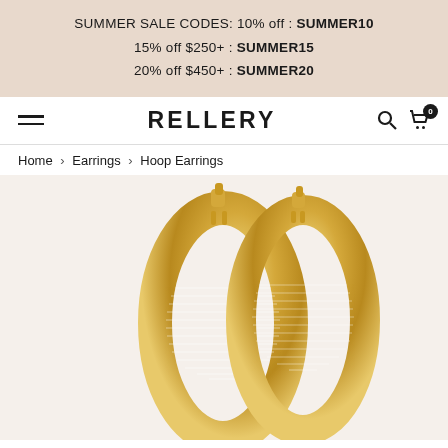SUMMER SALE CODES: 10% off : SUMMER10
15% off $250+ : SUMMER15
20% off $450+ : SUMMER20
≡   RELLERY   🔍  🛒 0
Home > Earrings > Hoop Earrings
[Figure (photo): Two gold hoop earrings with textured stripe pattern on lower half, photographed on white/cream background]